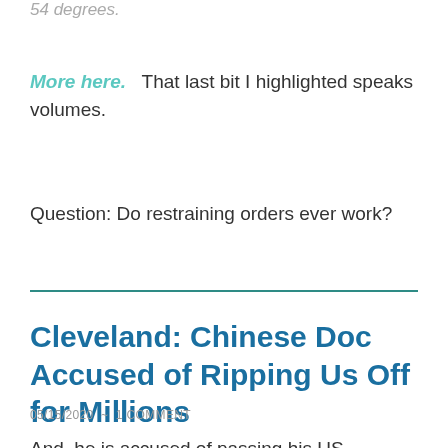54 degrees.
More here.  That last bit I highlighted speaks volumes.
Question: Do restraining orders ever work?
Cleveland: Chinese Doc Accused of Ripping Us Off for Millions
05/15/2020  ~  1 COMMENT
And, he is accused of passing his US taxpayer-